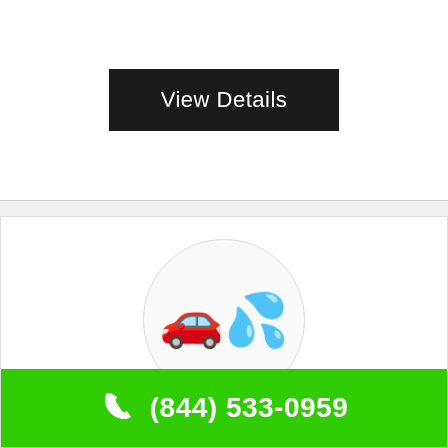View Details
[Figure (logo): Car wash emoji logo inside a light circle — a red car with water/bubbles above it]
Silver Star Motor Co
118 Nw 14th Avenue # A, Gainesville, FL
Retail Trade
(844) 533-0959